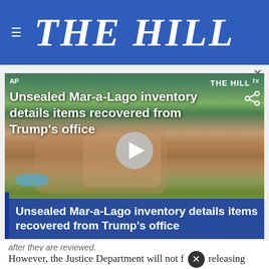THE HILL
[Figure (screenshot): Aerial video thumbnail of Mar-a-Lago estate with overlay text 'Unsealed Mar-a-Lago inventory details items recovered from Trump's office' and THE HILL TV watermark and play button]
after they are reviewed.
However, the Justice Department will not f… releasing documents until mid-April “due to continuing co-ordination with a number of foreign governments and ongoing interagency review.”